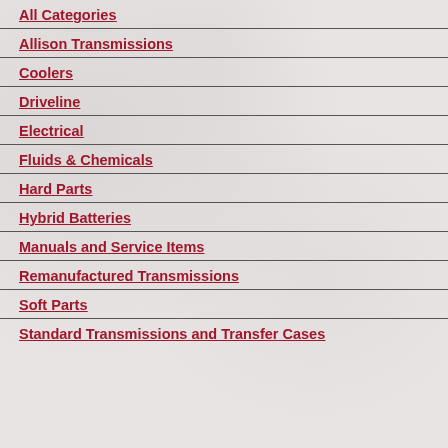All Categories
Allison Transmissions
Coolers
Driveline
Electrical
Fluids & Chemicals
Hard Parts
Hybrid Batteries
Manuals and Service Items
Remanufactured Transmissions
Soft Parts
Standard Transmissions and Transfer Cases